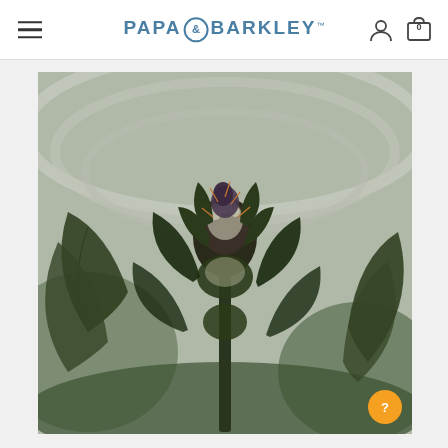Papa & Barkley — navigation header with menu icon, logo, user icon, and cart icon
[Figure (photo): Close-up photograph of a cannabis plant in bloom with dense trichome-covered buds, dark green and purple coloring, set against a blurred greenhouse background with curved metal frame structures visible]